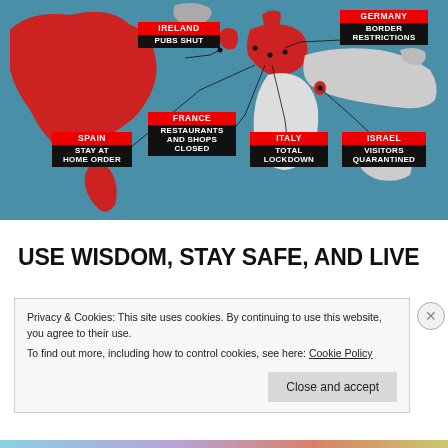[Figure (map): World map showing COVID-19 restrictions by country: Ireland (Pubs Shut), Germany (Border Restrictions), Spain (Stay At Home Order), France (Restaurants And Shops Closed), Italy (Total Lockdown), Israel (Visitors Quarantined). Red-highlighted countries on a teal/grey world map with labeled callout boxes.]
USE WISDOM, STAY SAFE, AND LIVE
Privacy & Cookies: This site uses cookies. By continuing to use this website, you agree to their use.
To find out more, including how to control cookies, see here: Cookie Policy
Close and accept